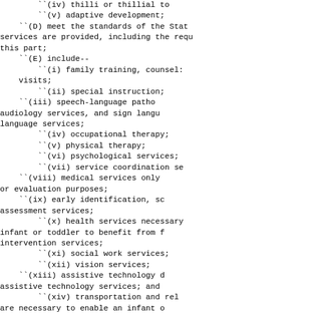`(iv) thilli or thillial to...
``(v) adaptive development;
``(D) meet the standards of the State services are provided, including the requ this part;
``(E) include--
``(i) family training, counsel: visits;
``(ii) special instruction;
``(iii) speech-language patho audiology services, and sign langu language services;
``(iv) occupational therapy;
``(v) physical therapy;
``(vi) psychological services;
``(vii) service coordination se
``(viii) medical services only or evaluation purposes;
``(ix) early identification, sc assessment services;
``(x) health services necessary infant or toddler to benefit from f intervention services;
``(xi) social work services;
``(xii) vision services;
``(xiii) assistive technology d assistive technology services; and
``(xiv) transportation and rel are necessary to enable an infant o the infant's or toddler's family to another service described in this...